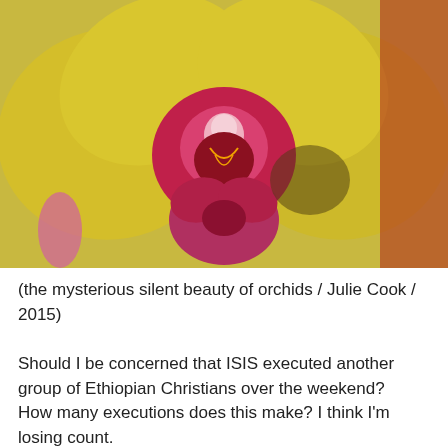[Figure (photo): Close-up photograph of a yellow orchid flower with a bright pink and red center, filling the frame.]
(the mysterious silent beauty of orchids / Julie Cook / 2015)
Should I be concerned that ISIS executed another group of Ethiopian Christians over the weekend?
How many executions does this make? I think I'm losing count.